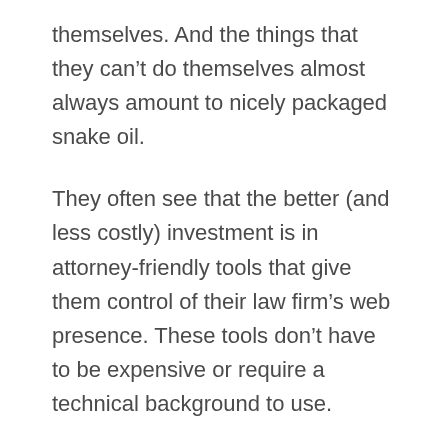themselves. And the things that they can't do themselves almost always amount to nicely packaged snake oil.
They often see that the better (and less costly) investment is in attorney-friendly tools that give them control of their law firm's web presence. These tools don't have to be expensive or require a technical background to use.
Search engine optimization isn't challenging. What's challenging is